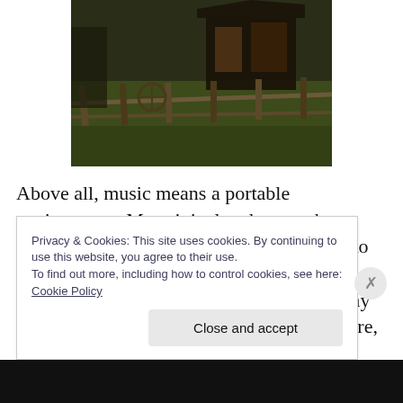[Figure (photo): Outdoor rural scene with a wooden fence, grass, and a dark barn or shed structure in the background. Dark, moody color tone.]
Above all, music means a portable environment. My original and somewhat pretentious aesthetic desires have evolved to the relative simplicity of headphones and laptop. Because of my work patterns and my relocations, I have learned to write anywhere, from hotel lobby to the beach; from station waiting rooms to a room being
Privacy & Cookies: This site uses cookies. By continuing to use this website, you agree to their use.
To find out more, including how to control cookies, see here: Cookie Policy
Close and accept